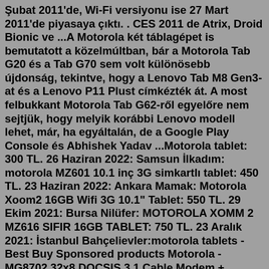Şubat 2011'de, Wi-Fi versiyonu ise 27 Mart 2011'de piyasaya çıktı. . CES 2011 de Atrix, Droid Bionic ve ...A Motorola két táblagépet is bemutatott a közelmúltban, bár a Motorola Tab G20 és a Tab G70 sem volt különösebb újdonság, tekintve, hogy a Lenovo Tab M8 Gen3-at és a Lenovo P11 Plust címkézték át. A most felbukkant Motorola Tab G62-ről egyelőre nem sejtjük, hogy melyik korábbi Lenovo modell lehet, már, ha egyáltalán, de a Google Play Console és Abhishek Yadav ...Motorola tablet: 300 TL. 26 Haziran 2022: Samsun İlkadım: motorola MZ601 10.1 inç 3G simkartlı tablet: 450 TL. 23 Haziran 2022: Ankara Mamak: Motorola Xoom2 16GB Wifi 3G 10.1" Tablet: 550 TL. 29 Ekim 2021: Bursa Nilüfer: MOTOROLA XOMM 2 MZ616 SIFIR 16GB TABLET: 750 TL. 23 Aralık 2021: İstanbul Bahçelievler:motorola tablets - Best Buy Sponsored products Motorola - MG8702 32x8 DOCSIS 3.1 Cable Modem + AC3200 Router - Black (348) $269.99 $299.99 Motorola - MT7711 24x8 DOCSIS 3.0 Modem + AC1900 Router + Voice - Black (1512)